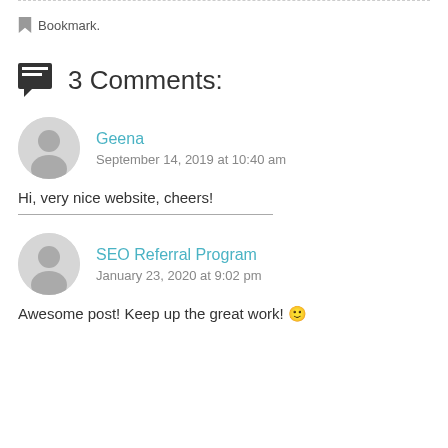Bookmark.
3 Comments:
Geena
September 14, 2019 at 10:40 am
Hi, very nice website, cheers!
SEO Referral Program
January 23, 2020 at 9:02 pm
Awesome post! Keep up the great work! 🙂